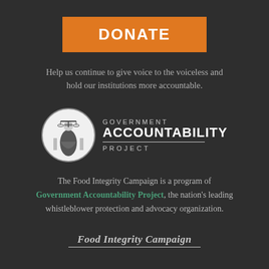DONATE
Help us continue to give voice to the voiceless and hold our institutions more accountable.
[Figure (logo): Government Accountability Project logo — circular emblem with Lady Justice figure on left, with text 'GOVERNMENT ACCOUNTABILITY PROJECT' on the right]
The Food Integrity Campaign is a program of Government Accountability Project, the nation's leading whistleblower protection and advocacy organization.
Food Integrity Campaign